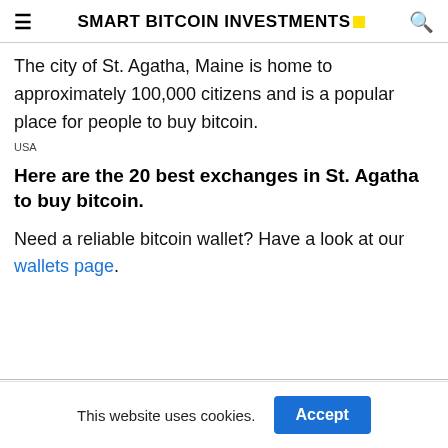SMART BITCOIN INVESTMENTS
The city of St. Agatha, Maine is home to approximately 100,000 citizens and is a popular place for people to buy bitcoin.
USA
Here are the 20 best exchanges in St. Agatha to buy bitcoin.
Need a reliable bitcoin wallet? Have a look at our wallets page.
This website uses cookies.